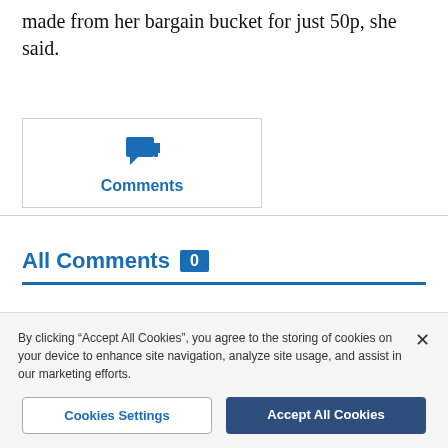made from her bargain bucket for just 50p, she said.
[Figure (other): Comments icon (speech bubble) with label 'Comments' in a bordered box]
All Comments 0
Newest
By clicking "Accept All Cookies", you agree to the storing of cookies on your device to enhance site navigation, analyze site usage, and assist in our marketing efforts.
Cookies Settings
Accept All Cookies